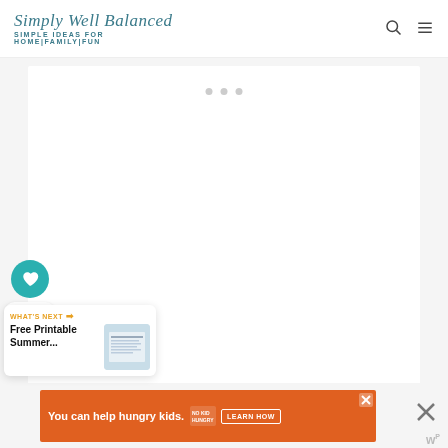Simply Well Balanced – SIMPLE IDEAS FOR HOME|FAMILY|FUN
[Figure (screenshot): Loading placeholder area with three gray dots indicating content is loading]
[Figure (infographic): Social sidebar with teal heart button showing 685 saves, and a share button below]
[Figure (infographic): What's Next card: arrow icon, text 'Free Printable Summer...' with thumbnail image]
[Figure (screenshot): Orange advertisement banner: 'You can help hungry kids.' with No Kid Hungry logo and LEARN HOW button]